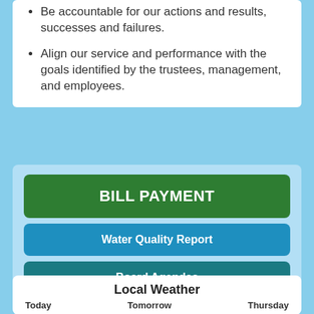Be accountable for our actions and results, successes and failures.
Align our service and performance with the goals identified by the trustees, management, and employees.
BILL PAYMENT
Water Quality Report
Board Agendas
Local Weather
Today    Tomorrow    Thursday